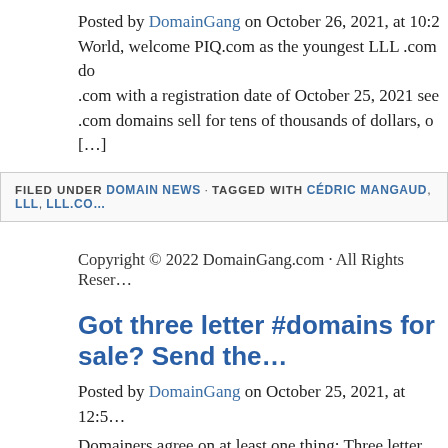Posted by DomainGang on October 26, 2021, at 10:2... World, welcome PIQ.com as the youngest LLL .com do... .com with a registration date of October 25, 2021 see... .com domains sell for tens of thousands of dollars, o... [...]
FILED UNDER DOMAIN NEWS · TAGGED WITH CÉDRIC MANGAUD, LLL, LLL.CO...
Copyright © 2022 DomainGang.com · All Rights Reser...
Got three letter #domains for sale? Send the...
Posted by DomainGang on October 25, 2021, at 12:5... Domainers agree on at least one thing: Three letter d... domain investments. Time to cash in! Sedo, our prem... domain names. The auction will take place from Nov... participate. Here are [...]